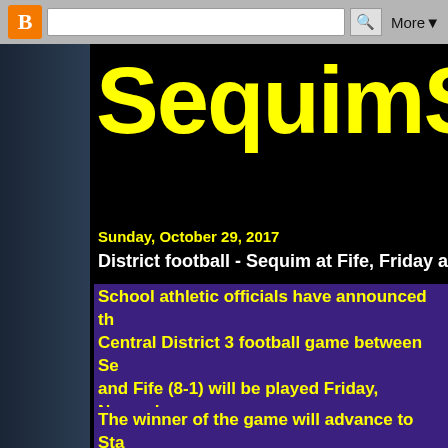B [Blogger logo] [search bar] More▾
SequimSpo
Sunday, October 29, 2017
District football - Sequim at Fife, Friday at 7 p.m.
School athletic officials have announced th... Central District 3 football game between Se... and Fife (8-1) will be played Friday, Novemb... p.m. at Fife High School.
The winner of the game will advance to Sta... number 3 seed from the 3A West Central Di...